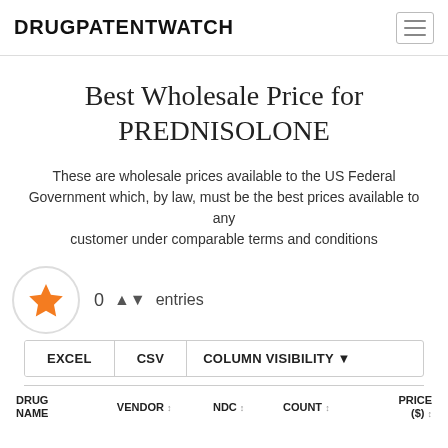DRUGPATENTWATCH
Best Wholesale Price for PREDNISOLONE
These are wholesale prices available to the US Federal Government which, by law, must be the best prices available to any customer under comparable terms and conditions
| DRUG NAME | VENDOR | NDC | COUNT | PRICE ($) |
| --- | --- | --- | --- | --- |